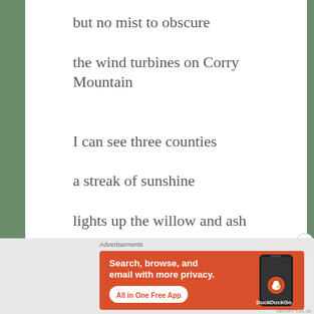but no mist to obscure
the wind turbines on Corry Mountain
I can see three counties
a streak of sunshine
lights up the willow and ash
Advertisements
[Figure (screenshot): DuckDuckGo advertisement banner: orange background with text 'Search, browse, and email with more privacy. All in One Free App' and DuckDuckGo logo with phone mockup]